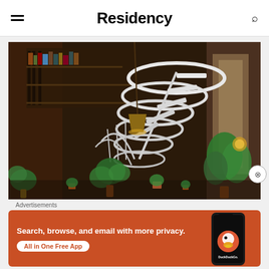Residency
[Figure (photo): Interior photo of a rustic multi-story space with a white spiral staircase, bookshelves, hanging lantern lamp, and numerous potted plants along dark wood walls]
Advertisements
[Figure (infographic): DuckDuckGo advertisement banner on orange background reading: Search, browse, and email with more privacy. All in One Free App — with DuckDuckGo logo and phone mockup]